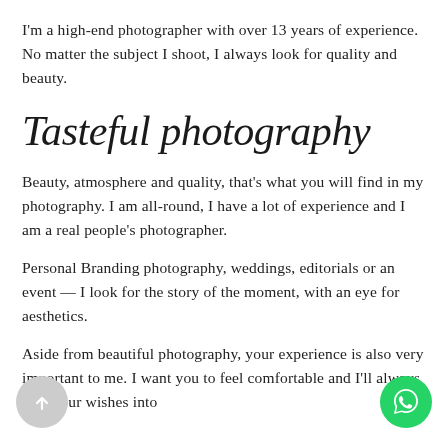I'm a high-end photographer with over 13 years of experience. No matter the subject I shoot, I always look for quality and beauty.
Tasteful photography
Beauty, atmosphere and quality, that's what you will find in my photography. I am all-round, I have a lot of experience and I am a real people's photographer.
Personal Branding photography, weddings, editorials or an event — I look for the story of the moment, with an eye for aesthetics.
Aside from beautiful photography, your experience is also very important to me. I want you to feel comfortable and I'll always take your wishes into